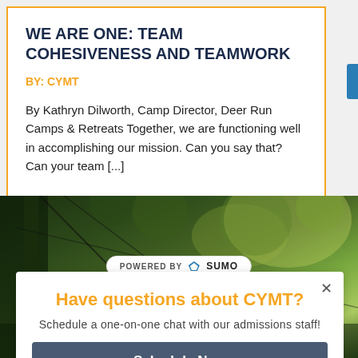WE ARE ONE: TEAM COHESIVENESS AND TEAMWORK
BY: CYMT
By Kathryn Dilworth, Camp Director, Deer Run Camps & Retreats Together, we are functioning well in accomplishing our mission. Can you say that? Can your team [...]
[Figure (photo): Forest/trees background photo with ropes or cables visible, greenery with light through trees]
POWERED BY SUMO
Have questions about CYMT?
Schedule a one-on-one chat with our admissions staff!
Schedule Now